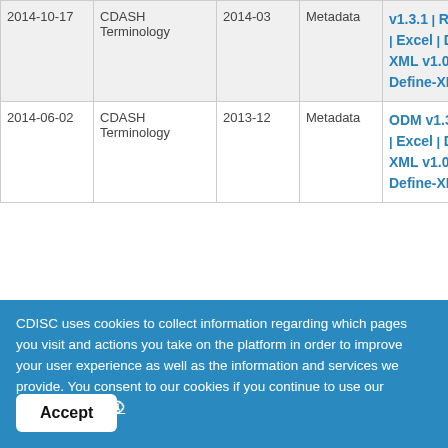| Date | Terminology | Version | Type | Formats |
| --- | --- | --- | --- | --- |
| 2014-10-17 | CDASH Terminology | 2014-03 | Metadata | ODM v1.3.1 | RDF | Excel | Define-XML v1.0 | Define-XML v2.0 |
| 2014-06-02 | CDASH Terminology | 2013-12 | Metadata | ODM v1.3.1 | RDF | Excel | Define-XML v1.0 | Define-XML v2.0 |
CDISC uses cookies to collect information regarding which pages you visit and actions you take on the platform in order to improve your user experience as well as the information and services we provide. You consent to our cookies if you continue to use our website.